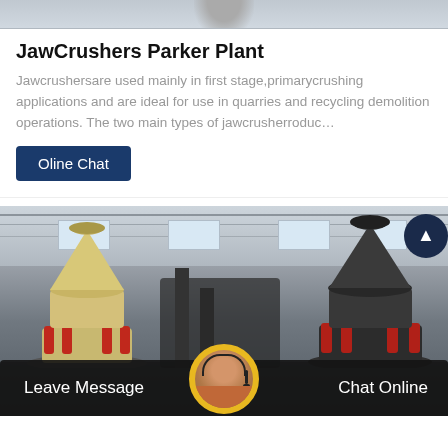[Figure (photo): Top portion of a machine or crusher, partially visible at the very top of the page]
JawCrushers Parker Plant
Jawcrushersare used mainly in first stage,primarycrushing applications and are ideal for use in quarries and recycling demolition operations. The two main types of jawcrusherroduc…
Oline Chat
[Figure (photo): Factory interior showing two large cone crushers — one cream/tan colored on the left and one dark/black on the right — inside an industrial warehouse with steel roof structure and windows]
Leave Message
Chat Online